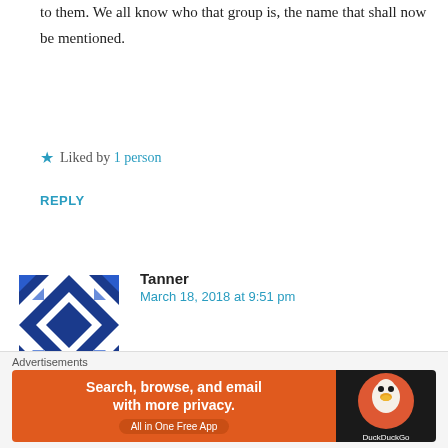to them. We all know who that group is, the name that shall now be mentioned.
★ Liked by 1 person
REPLY
Tanner
March 18, 2018 at 9:51 pm
The modern media has strayed extremely far from their predecessors, at least those operating within America. Actions once seen as an societal obligation to be performed for the betterment the nation, are now among the largest revenue generating systems i
Advertisements
Search, browse, and email with more privacy. All in One Free App